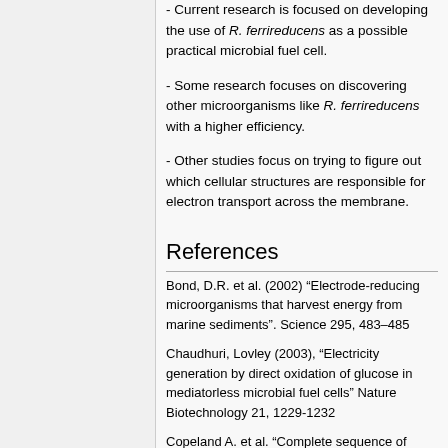- Current research is focused on developing the use of R. ferrireducens as a possible practical microbial fuel cell.
- Some research focuses on discovering other microorganisms like R. ferrireducens with a higher efficiency.
- Other studies focus on trying to figure out which cellular structures are responsible for electron transport across the membrane.
References
Bond, D.R. et al. (2002) “Electrode-reducing microorganisms that harvest energy from marine sediments”. Science 295, 483–485
Chaudhuri, Lovley (2003), “Electricity generation by direct oxidation of glucose in mediatorless microbial fuel cells” Nature Biotechnology 21, 1229-1232
Copeland A. et al. “Complete sequence of chromosome of Rhodoferax ferrireducens DSM